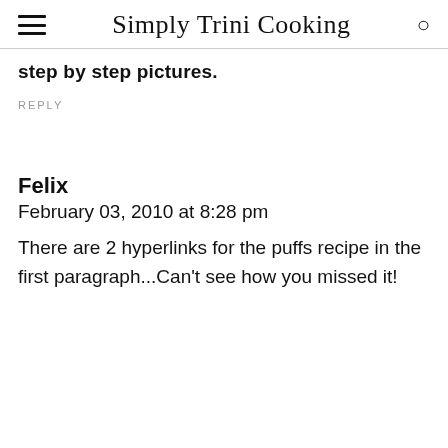Simply Trini Cooking
step by step pictures.
REPLY
Felix
February 03, 2010 at 8:28 pm
There are 2 hyperlinks for the puffs recipe in the first paragraph...Can't see how you missed it!